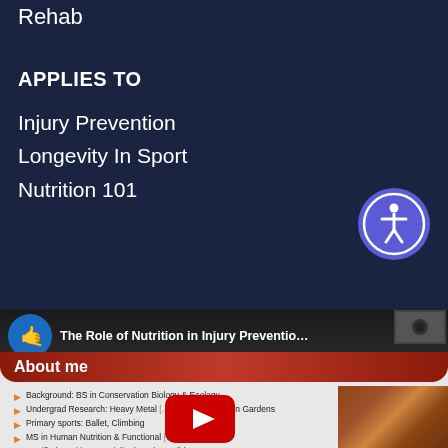Rehab
APPLIES TO
Injury Prevention
Longevity In Sport
Nutrition 101
[Figure (screenshot): Accessibility button - circular blue button with wheelchair/person icon]
[Figure (screenshot): YouTube video screenshot: 'The Role of Nutrition in Injury Preventio...' with About me slide showing bullet points about background in Conservation Biology & Ecology, Undergrad Research Heavy Metal in Phoenix Urban Gardens, Primary sports Ballet Climbing, MS in Human Nutrition & Functional medicine, Certified Nutrition Specialist (CNS) Candidate. YouTube play button overlay visible. Small food image in corner.]